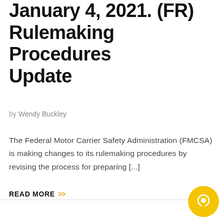January 4, 2021. (FR) Rulemaking Procedures Update
by Wendy Buckley
The Federal Motor Carrier Safety Administration (FMCSA) is making changes to its rulemaking procedures by revising the process for preparing [...]
READ MORE >>